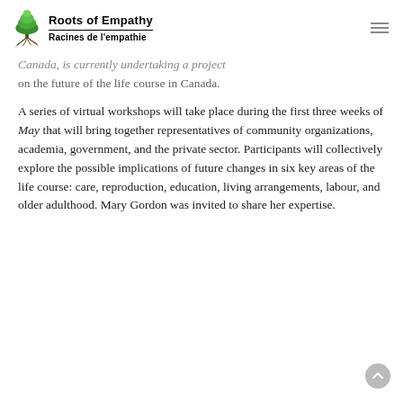Roots of Empathy | Racines de l'empathie
Canada, is currently undertaking a project on the future of the life course in Canada.
A series of virtual workshops will take place during the first three weeks of May that will bring together representatives of community organizations, academia, government, and the private sector. Participants will collectively explore the possible implications of future changes in six key areas of the life course: care, reproduction, education, living arrangements, labour, and older adulthood. Mary Gordon was invited to share her expertise.